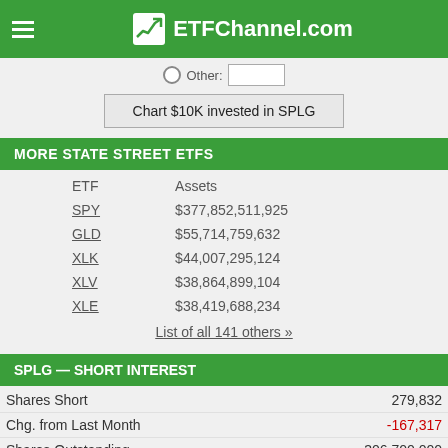ETFChannel.com
Other:
Chart $10K invested in SPLG
MORE STATE STREET ETFS
| ETF | Assets |
| --- | --- |
| SPY | $377,852,511,925 |
| GLD | $55,714,759,632 |
| XLK | $44,007,295,124 |
| XLV | $38,864,899,104 |
| XLE | $38,419,688,234 |
List of all 141 others »
SPLG — SHORT INTEREST
|  |  |
| --- | --- |
| Shares Short | 279,832 |
| Chg. from Last Month | -167,317 |
| Shares Outstanding | 306,700,000 |
| % of Shares Short | 0.09% |